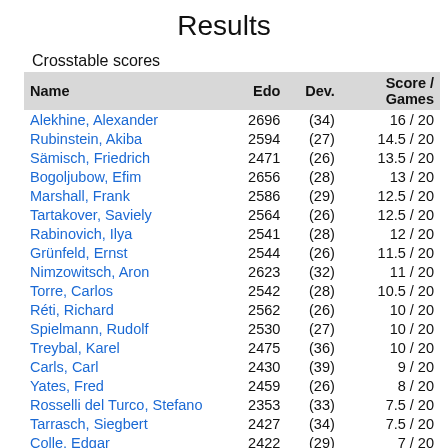Results
Crosstable scores
| Name | Edo | Dev. | Score / Games |
| --- | --- | --- | --- |
| Alekhine, Alexander | 2696 | (34) | 16 / 20 |
| Rubinstein, Akiba | 2594 | (27) | 14.5 / 20 |
| Sämisch, Friedrich | 2471 | (26) | 13.5 / 20 |
| Bogoljubow, Efim | 2656 | (28) | 13 / 20 |
| Marshall, Frank | 2586 | (29) | 12.5 / 20 |
| Tartakover, Saviely | 2564 | (26) | 12.5 / 20 |
| Rabinovich, Ilya | 2541 | (28) | 12 / 20 |
| Grünfeld, Ernst | 2544 | (26) | 11.5 / 20 |
| Nimzowitsch, Aron | 2623 | (32) | 11 / 20 |
| Torre, Carlos | 2542 | (28) | 10.5 / 20 |
| Réti, Richard | 2562 | (26) | 10 / 20 |
| Spielmann, Rudolf | 2530 | (27) | 10 / 20 |
| Treybal, Karel | 2475 | (36) | 10 / 20 |
| Carls, Carl | 2430 | (39) | 9 / 20 |
| Yates, Fred | 2459 | (26) | 8 / 20 |
| Rosselli del Turco, Stefano | 2353 | (33) | 7.5 / 20 |
| Tarrasch, Siegbert | 2427 | (34) | 7.5 / 20 |
| Colle, Edgar | 2422 | (29) | 7 / 20 |
| Mieses, Jacques | 2387 | (38) | 6.5 / 20 |
| Thomas, George | 2437 | (29) | 6 / 20 |